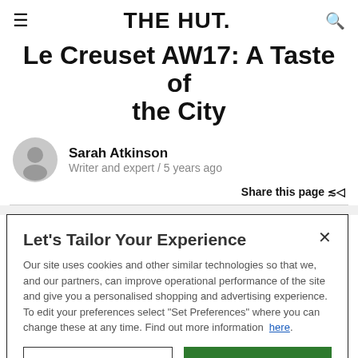THE HUT.
Le Creuset AW17: A Taste of the City
Sarah Atkinson
Writer and expert / 5 years ago
Share this page
Let's Tailor Your Experience
Our site uses cookies and other similar technologies so that we, and our partners, can improve operational performance of the site and give you a personalised shopping and advertising experience. To edit your preferences select "Set Preferences" where you can change these at any time. Find out more information here.
Set Preferences | That's OK